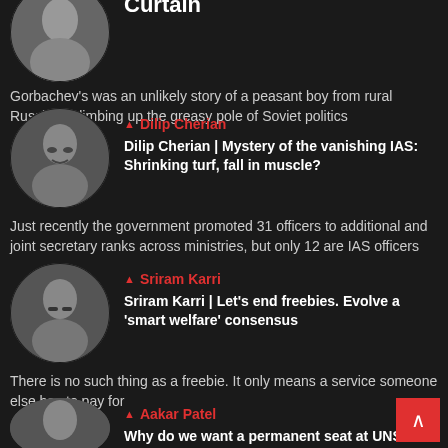[Figure (photo): Circular black-and-white portrait photo of a man (partially visible at top)]
Curtain
Gorbachev's was an unlikely story of a peasant boy from rural Russia to climbing up the greasy pole of Soviet politics
[Figure (photo): Circular black-and-white portrait photo of Dilip Cherian]
Dilip Cherian
Dilip Cherian | Mystery of the vanishing IAS: Shrinking turf, fall in muscle?
Just recently the government promoted 31 officers to additional and joint secretary ranks across ministries, but only 12 are IAS officers
[Figure (photo): Circular black-and-white portrait photo of Sriram Karri]
Sriram Karri
Sriram Karri | Let’s end freebies. Evolve a ‘smart welfare’ consensus
There is no such thing as a freebie. It only means a service someone else has to pay for
[Figure (photo): Circular black-and-white portrait photo of Aakar Patel (partially visible at bottom)]
Aakar Patel
Why do we want a permanent seat at UNSC? If we get it,